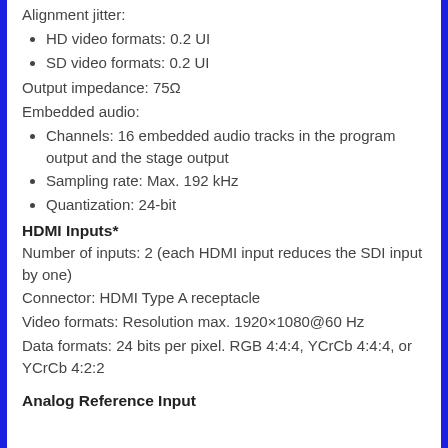Alignment jitter:
HD video formats: 0.2 UI
SD video formats: 0.2 UI
Output impedance: 75Ω
Embedded audio:
Channels: 16 embedded audio tracks in the program output and the stage output
Sampling rate: Max. 192 kHz
Quantization: 24-bit
HDMI Inputs*
Number of inputs: 2 (each HDMI input reduces the SDI input by one)
Connector: HDMI Type A receptacle
Video formats: Resolution max. 1920×1080@60 Hz
Data formats: 24 bits per pixel. RGB 4:4:4, YCrCb 4:4:4, or YCrCb 4:2:2
Analog Reference Input